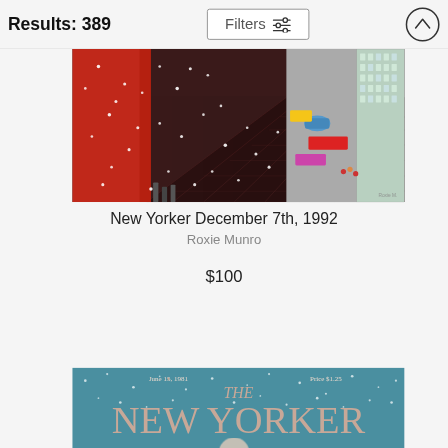Results: 389
[Figure (illustration): New Yorker magazine cover illustration by Roxie Munro showing an aerial view of a city street in winter with snow falling, colorful cars and buildings visible from above]
New Yorker December 7th, 1992
Roxie Munro
$100
[Figure (illustration): The New Yorker magazine cover from June 15, 1981, Price $1.25, showing the magazine title in large pink letters on a teal/blue snowy background]